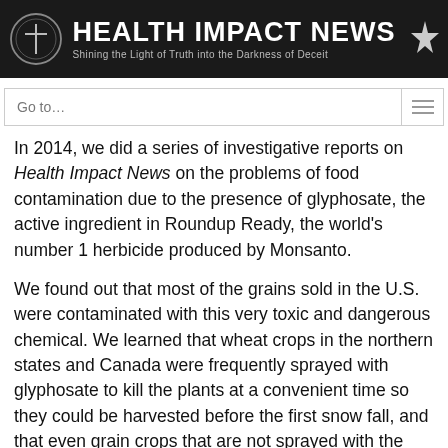HEALTH IMPACT NEWS — Shining the Light of Truth into the Darkness of Deceit
Go to...
In 2014, we did a series of investigative reports on Health Impact News on the problems of food contamination due to the presence of glyphosate, the active ingredient in Roundup Ready, the world's number 1 herbicide produced by Monsanto.
We found out that most of the grains sold in the U.S. were contaminated with this very toxic and dangerous chemical. We learned that wheat crops in the northern states and Canada were frequently sprayed with glyphosate to kill the plants at a convenient time so they could be harvested before the first snow fall, and that even grain crops that are not sprayed with the herbicide are often contaminated with it.
We tested several commercial grain products to verify this